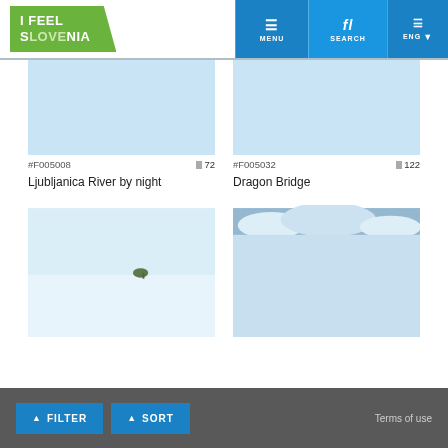[Figure (screenshot): I Feel Slovenia website header with logo and navigation buttons: MENU, SEARCH, ENG]
[Figure (photo): Light blue placeholder image for Ljubljanica River by night photo]
#F005008
72
Ljubljanica River by night
[Figure (photo): Light blue placeholder image for Dragon Bridge photo]
#F005032
122
Dragon Bridge
[Figure (photo): Winter landscape photo with a single tree on snowy white field]
[Figure (photo): Blue sky with clouds photo]
FILTER   SORT   Terms of use